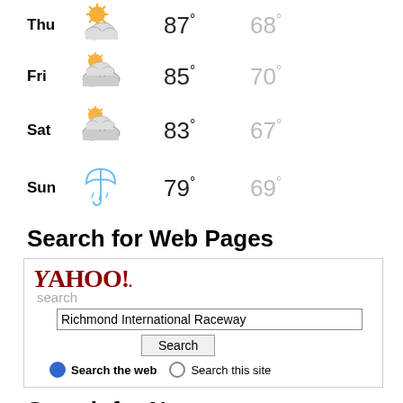[Figure (infographic): Weather forecast rows for Thu, Fri, Sat, Sun with partly cloudy and rain icons and high/low temperatures]
Search for Web Pages
[Figure (screenshot): Yahoo! Search box with 'Richmond International Raceway' query, Search button, and radio buttons for 'Search the web' and 'Search this site']
Search for News
You may also wish to try using the Yahoo! Search as it may produce current